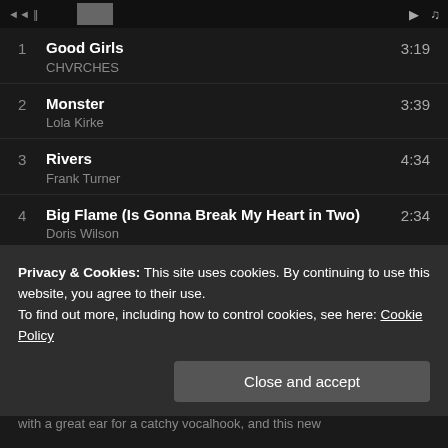1  Good Girls  CHVRCHES  3:19
2  Monster  Lola Kirke  3:39
3  Rivers  Frank Turner  4:34
4  Big Flame (Is Gonna Break My Heart in Two)  Doris Wilson  2:34
5  Holier Than Thou  Biffy Clyro  5:09
6  Segmentation Fault  The Algorithm  4:35
Privacy & Cookies: This site uses cookies. By continuing to use this website, you agree to their use.
To find out more, including how to control cookies, see here: Cookie Policy
with a great ear for a catchy vocalhook, and this new